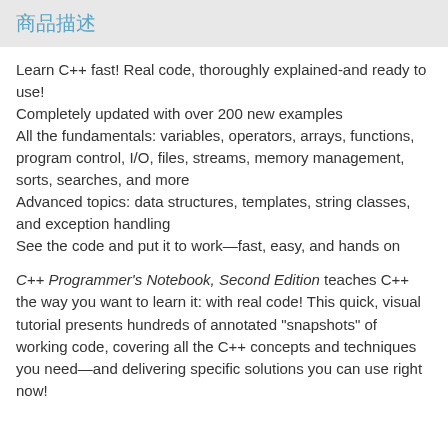商品描述
Learn C++ fast! Real code, thoroughly explained-and ready to use!
Completely updated with over 200 new examples
All the fundamentals: variables, operators, arrays, functions, program control, I/O, files, streams, memory management, sorts, searches, and more
Advanced topics: data structures, templates, string classes, and exception handling
See the code and put it to work—fast, easy, and hands on
C++ Programmer's Notebook, Second Edition teaches C++ the way you want to learn it: with real code! This quick, visual tutorial presents hundreds of annotated "snapshots" of working code, covering all the C++ concepts and techniques you need—and delivering specific solutions you can use right now!